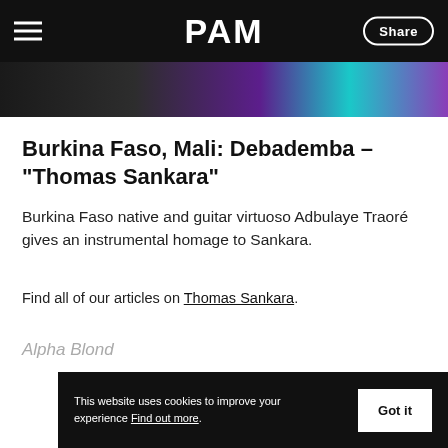PAM
[Figure (photo): Partial photo strip showing colorful clothing/fabric in purple, teal, and dark tones]
Burkina Faso, Mali: Debademba – “Thomas Sankara”
Burkina Faso native and guitar virtuoso Adbulaye Traoré gives an instrumental homage to Sankara.
Find all of our articles on Thomas Sankara.
Alpha Blond
This website uses cookies to improve your experience Find out more.